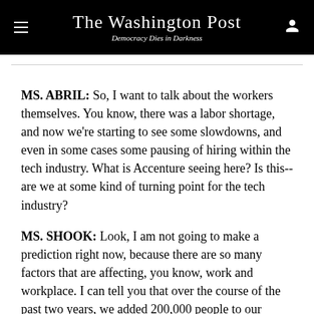The Washington Post — Democracy Dies in Darkness
MS. ABRIL: So, I want to talk about the workers themselves. You know, there was a labor shortage, and now we're starting to see some slowdowns, and even in some cases some pausing of hiring within the tech industry. What is Accenture seeing here? Is this--are we at some kind of turning point for the tech industry?
MS. SHOOK: Look, I am not going to make a prediction right now, because there are so many factors that are affecting, you know, work and workplace. I can tell you that over the course of the past two years, we added 200,000 people to our workforce. And while the